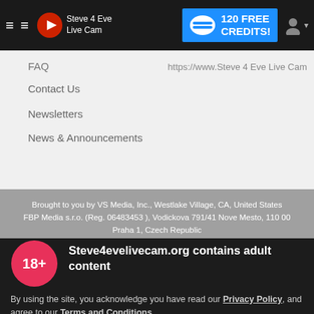Steve 4 Eve Live Cam — 120 FREE CREDITS!
FAQ
https://www.Steve 4 Eve Live Cam
Contact Us
Newsletters
News & Announcements
Brought to you by VS Media, Inc., Westlake Village, CA, United States
FBP Media s.r.o. (Reg. 06483453 ), Vodickova 791/41 Nove Mesto, 110 00 Praha 1, Czech Republic
https://www.Steve 4 Eve Live Cam
Steve4evelivecam.org contains adult content
By using the site, you acknowledge you have read our Privacy Policy, and agree to our Terms and Conditions.
We use cookies to optimize your experience, analyze traffic, and deliver more personalized service. To learn more, please see our Privacy Policy.
I AGREE